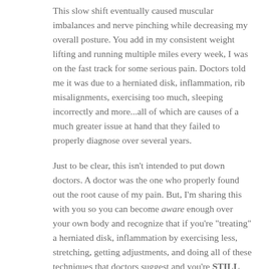This slow shift eventually caused muscular imbalances and nerve pinching while decreasing my overall posture. You add in my consistent weight lifting and running multiple miles every week, I was on the fast track for some serious pain. Doctors told me it was due to a herniated disk, inflammation, rib misalignments, exercising too much, sleeping incorrectly and more...all of which are causes of a much greater issue at hand that they failed to properly diagnose over several years.
Just to be clear, this isn't intended to put down doctors. A doctor was the one who properly found out the root cause of my pain. But, I'm sharing this with you so you can become aware enough over your own body and recognize that if you're "treating" a herniated disk, inflammation by exercising less, stretching, getting adjustments, and doing all of these techniques that doctors suggest and you're STILL experiencing these recurring injuries...something much deeper is going on so I encourage you to keep investigating and discover what really is going on.
According to Spine-Health.com, the leading